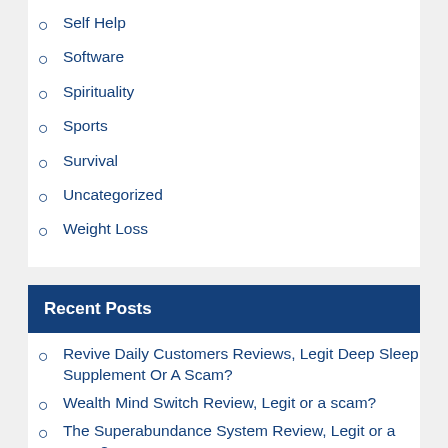Self Help
Software
Spirituality
Sports
Survival
Uncategorized
Weight Loss
Recent Posts
Revive Daily Customers Reviews, Legit Deep Sleep Supplement Or A Scam?
Wealth Mind Switch Review, Legit or a scam?
The Superabundance System Review, Legit or a scam?
Wealth DNA Code Review, Legit or a scam?
Prodentim Customers Reviews, Does Prodentim really work?
Fluxactive Complete Reviews, Healthy prostate…